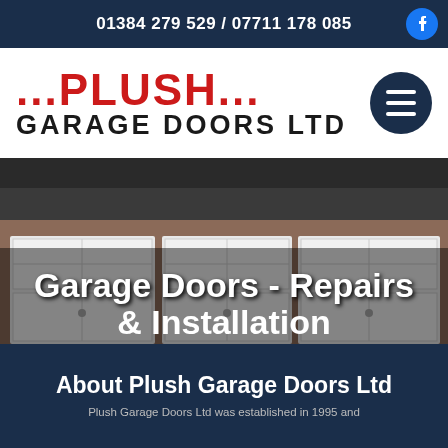01384 279 529 / 07711 178 085
...PLUSH... GARAGE DOORS LTD
[Figure (photo): Exterior photo of a house garage with two white panelled garage doors and a dark tiled roof, with overlaid white bold text reading 'Garage Doors - Repairs & Installation']
About Plush Garage Doors Ltd
Plush Garage Doors Ltd was established in 1995 and